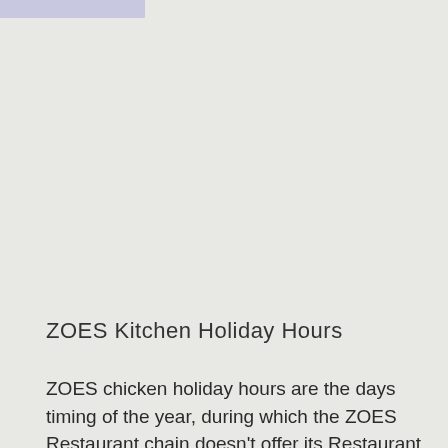[Figure (other): Light purple/lavender header bar at top left of page]
ZOES Kitchen Holiday Hours
ZOES chicken holiday hours are the days timing of the year, during which the ZOES Restaurant chain doesn't offer its Restaurant services food menu to the